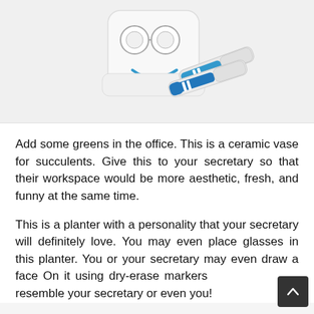[Figure (photo): A white ceramic planter shaped like a face with a blue smile drawn on it, alongside two blue and white dry-erase markers, shown against a white background.]
Add some greens in the office. This is a ceramic vase for succulents. Give this to your secretary so that their workspace would be more aesthetic, fresh, and funny at the same time.
This is a planter with a personality that your secretary will definitely love. You may even place glasses in this planter. You or your secretary may even draw a face On it using dry-erase markers resemble your secretary or even you!